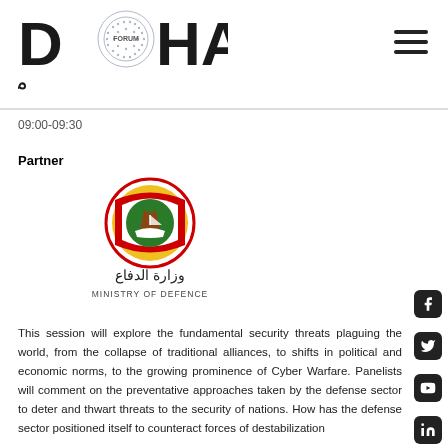[Figure (logo): Doha Forum logo with Arabic text منتدى الدوحة]
09:00-09:30
Partner
[Figure (logo): Qatar Ministry of Defence logo with circular seal and Arabic text وزارة الدفاع / MINISTRY OF DEFENCE]
This session will explore the fundamental security threats plaguing the world, from the collapse of traditional alliances, to shifts in political and economic norms, to the growing prominence of Cyber Warfare. Panelists will comment on the preventative approaches taken by the defense sector to deter and thwart threats to the security of nations. How has the defense sector positioned itself to counteract forces of destabilization